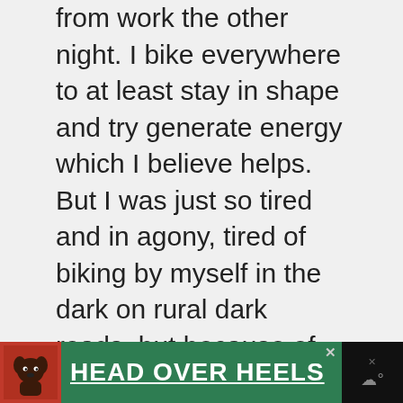from work the other night. I bike everywhere to at least stay in shape and try generate energy which I believe helps. But I was just so tired and in agony, tired of biking by myself in the dark on rural dark roads, but because of all of this I cannot afford a car either. Not working or being expected to perform normally helps more than anything, but how to manage that without the added stress of worrying about money and being poor and feeling useless? This is
[Figure (other): Advertisement banner at bottom: dog photo on left, green background with 'HEAD OVER HEELS' text in white bold underlined font, close button (x), black panel on right with weather icon]